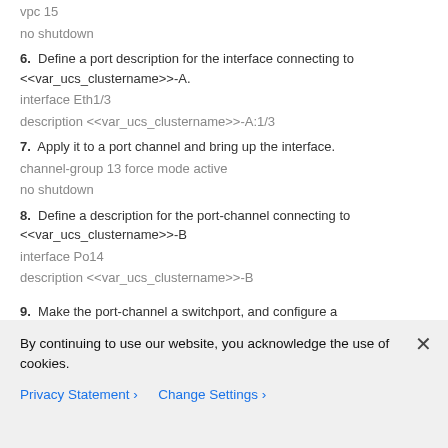vpc 15
no shutdown
6. Define a port description for the interface connecting to <<var_ucs_clustername>>-A.
interface Eth1/3
description <<var_ucs_clustername>>-A:1/3
7. Apply it to a port channel and bring up the interface.
channel-group 13 force mode active
no shutdown
8. Define a description for the port-channel connecting to <<var_ucs_clustername>>-B
interface Po14
description <<var_ucs_clustername>>-B
9. Make the port-channel a switchport, and configure a
By continuing to use our website, you acknowledge the use of cookies.
Privacy Statement > Change Settings >